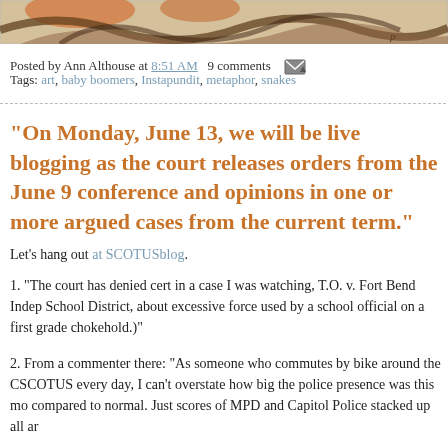[Figure (illustration): Top portion of an illustration showing a snake coiled, with orange/brown tones against a beige background]
Posted by Ann Althouse at 8:51 AM  9 comments
Tags: art, baby boomers, Instapundit, metaphor, snakes
"On Monday, June 13, we will be live blogging as the court releases orders from the June 9 conference and opinions in one or more argued cases from the current term."
Let's hang out at SCOTUSblog.
1. "The court has denied cert in a case I was watching, T.O. v. Fort Bend Independent School District, about excessive force used by a school official on a first grader (a chokehold.)"
2. From a commenter there: "As someone who commutes by bike around the Capitol/SCOTUS every day, I can't overstate how big the police presence was this morning compared to normal. Just scores of MPD and Capitol Police stacked up all aro..."